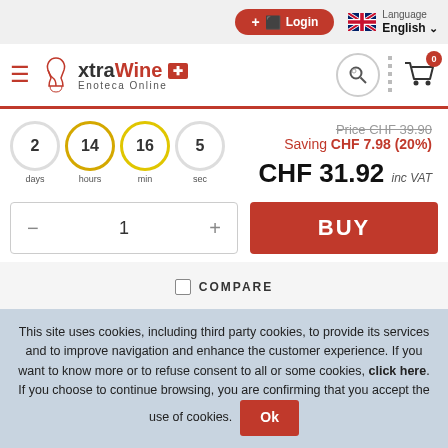[Figure (screenshot): Top navigation bar with Login button, Language selector (English with UK flag)]
[Figure (logo): xtraWine Enoteca Online logo with Swiss cross, hamburger menu, search icon, and cart icon showing 0 items]
Price CHF 39.90
Saving CHF 7.98 (20%)
CHF 31.92 inc VAT
[Figure (infographic): Countdown timer showing 2 days, 14 hours, 16 min, 5 sec with circular indicators]
1
BUY
COMPARE
This site uses cookies, including third party cookies, to provide its services and to improve navigation and enhance the customer experience. If you want to know more or to refuse consent to all or some cookies, click here. If you choose to continue browsing, you are confirming that you accept the use of cookies.
Ok